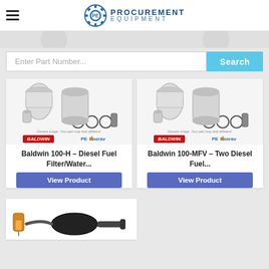[Figure (logo): Procurement Equipment logo with gear icon and company name]
Enter Part Number...
Search
[Figure (photo): Baldwin diesel fuel filter/water separator parts kit product image with generic image disclaimer, Baldwin Filters logo and PE Energy logo]
Baldwin 100-H – Diesel Fuel Filter/Water...
View Product
[Figure (photo): Baldwin two diesel fuel filter parts kit product image with generic image disclaimer, Baldwin Filters logo and PE Energy logo]
Baldwin 100-MFV – Two Diesel Fuel...
View Product
[Figure (photo): Partially visible product image showing a fuel filter assembly and hand primer pump]